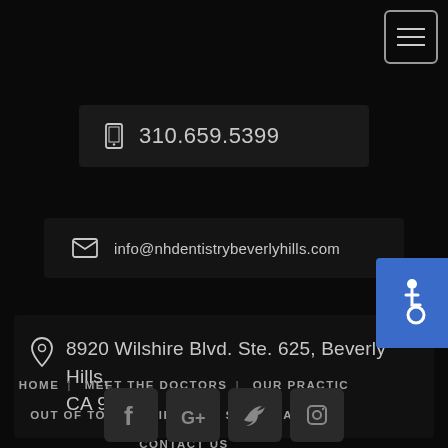[Figure (other): Hamburger menu icon button, top right corner]
310.659.5399
info@nhdentistrybeverlyhills.com
8920 Wilshire Blvd. Ste. 625, Beverly Hills, CA 90211
HOME
MEET THE DOCTORS
OUR PRACTICE
OUT OF TOWN PATIENTS
SMILE GALLERY
CONTACT US
[Figure (other): Accessibility wheelchair icon button (blue background)]
[Figure (other): Row of social media icons: Facebook, Google+, Twitter, Instagram]